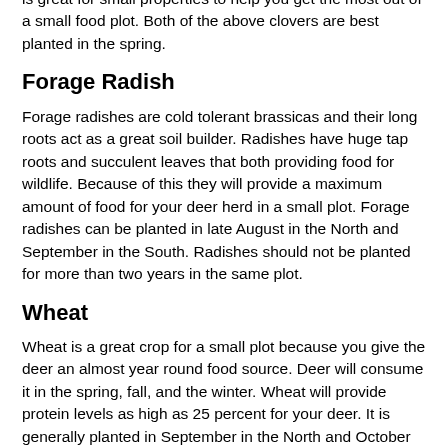is great for small properties to help you get the most out of a small food plot. Both of the above clovers are best planted in the spring.
Forage Radish
Forage radishes are cold tolerant brassicas and their long roots act as a great soil builder. Radishes have huge tap roots and succulent leaves that both providing food for wildlife. Because of this they will provide a maximum amount of food for your deer herd in a small plot. Forage radishes can be planted in late August in the North and September in the South. Radishes should not be planted for more than two years in the same plot.
Wheat
Wheat is a great crop for a small plot because you give the deer an almost year round food source. Deer will consume it in the spring, fall, and the winter. Wheat will provide protein levels as high as 25 percent for your deer. It is generally planted in September in the North and October in the South.